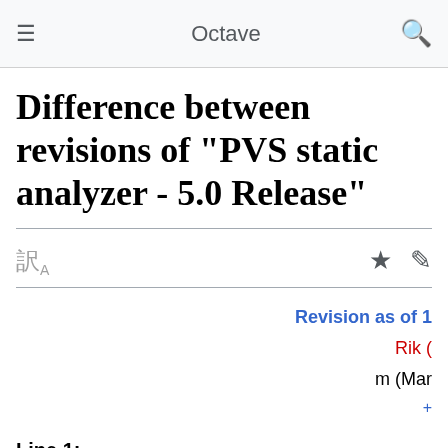Octave
Difference between revisions of "PVS static analyzer - 5.0 Release"
Revision as of 1
Rik (
m (Mar
+
Line 1:
<p>This page tracks the progress of {{bug #|55347